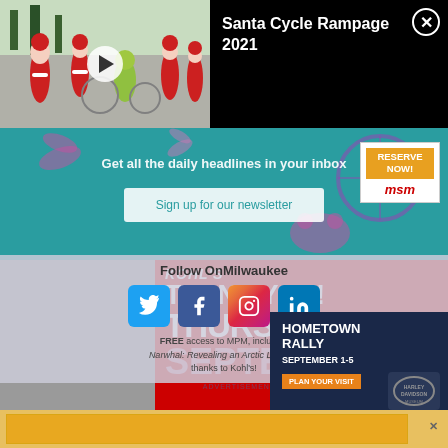[Figure (screenshot): Video thumbnail showing Santa Cycle Rampage event with cyclists dressed as Santa Claus]
Santa Cycle Rampage 2021
[Figure (screenshot): Newsletter sign-up banner with teal background, text: Get all the daily headlines in your inbox, Sign up for our newsletter]
Get all the daily headlines in your inbox
Sign up for our newsletter
[Figure (screenshot): MSM Reserve Now advertisement overlay]
RESERVE NOW!
Follow OnMilwaukee
[Figure (screenshot): Social media icons: Twitter, Facebook, Instagram, LinkedIn]
FREE access to MPM, including Narwhal: Revealing an Arctic Legend, thanks to Kohl's!
[Figure (screenshot): Kohl's Thank You Thursday advertisement in red background]
KOHL'S
THANK YOU!
THURSDAY
SEPTEMBER 1
ADVERTISEMENT · STORIES CONTINUE BELOW
[Figure (screenshot): Harley-Davidson Museum Hometown Rally September 1-5 advertisement]
HOMETOWN RALLY
SEPTEMBER 1-5
PLAN YOUR VISIT